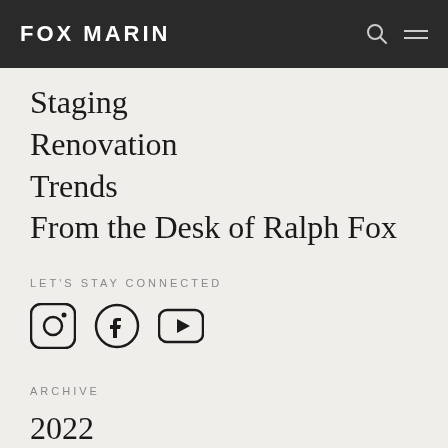FOX MARIN
Staging
Renovation
Trends
From the Desk of Ralph Fox
LET'S STAY CONNECTED
[Figure (illustration): Social media icons: Instagram, Facebook, YouTube]
ARCHIVE
2022